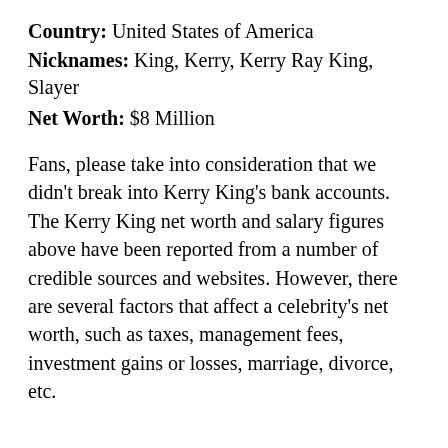Country: United States of America
Nicknames: King, Kerry, Kerry Ray King, Slayer
Net Worth: $8 Million
Fans, please take into consideration that we didn't break into Kerry King's bank accounts. The Kerry King net worth and salary figures above have been reported from a number of credible sources and websites. However, there are several factors that affect a celebrity's net worth, such as taxes, management fees, investment gains or losses, marriage, divorce, etc.